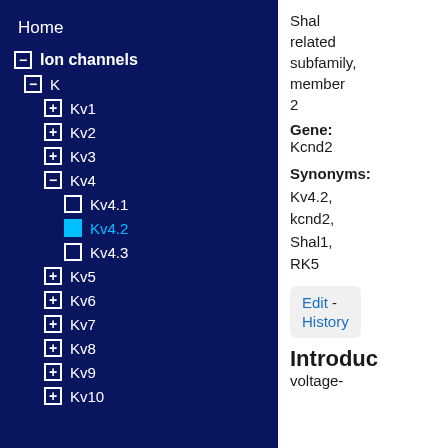Home
− Ion channels
− K
+ Kv1
+ Kv2
+ Kv3
− Kv4
□ Kv4.1
■ Kv4.2
□ Kv4.3
+ Kv5
+ Kv6
+ Kv7
+ Kv8
+ Kv9
+ Kv10
Shal related subfamily, member 2
Gene: Kcnd2
Synonyms: Kv4.2, kcnd2, Shal1, RK5
Edit - History
Introduc
voltage-